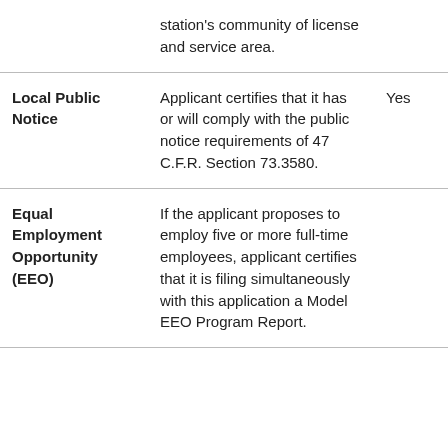|  | station's community of license and service area. |  |
| Local Public Notice | Applicant certifies that it has or will comply with the public notice requirements of 47 C.F.R. Section 73.3580. | Yes |
| Equal Employment Opportunity (EEO) | If the applicant proposes to employ five or more full-time employees, applicant certifies that it is filing simultaneously with this application a Model EEO Program Report. |  |